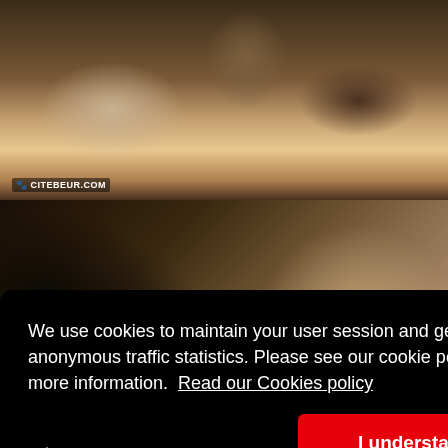[Figure (photo): Screenshot of a website with adult content images and a cookie consent overlay popup]
We use cookies to maintain your user session and generate anonymous traffic statistics. Please see our cookie policy for more information.  Read our Cookies policy
I understand